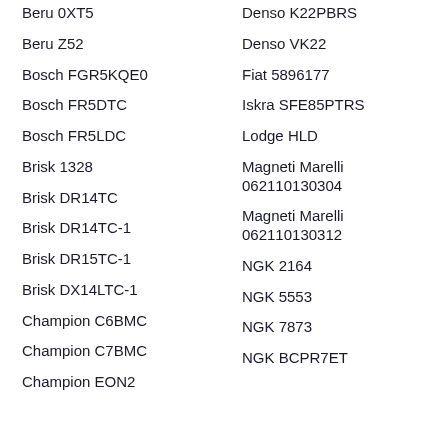Beru 0XT5
Beru Z52
Bosch FGR5KQE0
Bosch FR5DTC
Bosch FR5LDC
Brisk 1328
Brisk DR14TC
Brisk DR14TC-1
Brisk DR15TC-1
Brisk DX14LTC-1
Champion C6BMC
Champion C7BMC
Champion EON2
Denso K22PBRS
Denso VK22
Fiat 5896177
Iskra SFE85PTRS
Lodge HLD
Magneti Marelli 062110130304
Magneti Marelli 062110130312
NGK 2164
NGK 5553
NGK 7873
NGK BCPR7ET